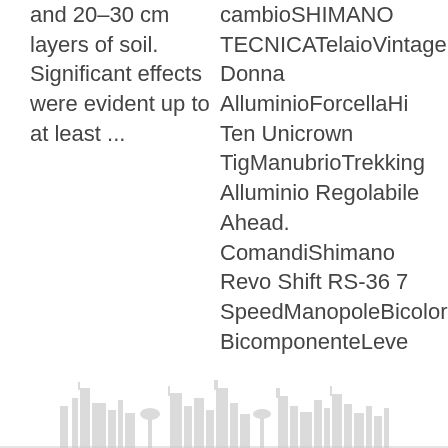and 20–30 cm layers of soil. Significant effects were evident up to at least ...
cambioSHIMANO TECNICATelaioVintage Donna AlluminioForcellaHi Ten Unicrown TigManubrioTrekking Alluminio Regolabile Ahead. ComandiShimano Revo Shift RS-36 7 SpeedManopoleBicolore BicomponenteLeve ...
Inquiries?
You can reach us anytime by phone or email.
sales6@alufoil.cn
[Figure (illustration): City skyline silhouette in light gray at the bottom of the page]